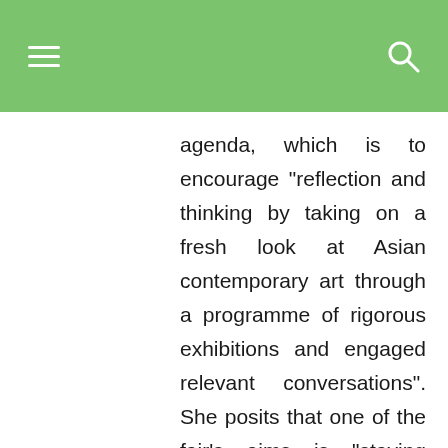[navigation header with hamburger menu and search icon]
agenda, which is to encourage "reflection and thinking by taking on a fresh look at Asian contemporary art through a programme of rigorous exhibitions and engaged relevant conversations". She posits that one of the fair's aims is "staying selective while revealing the diversity of practices and exposing the most thorough experimentations of the Asian scenes".